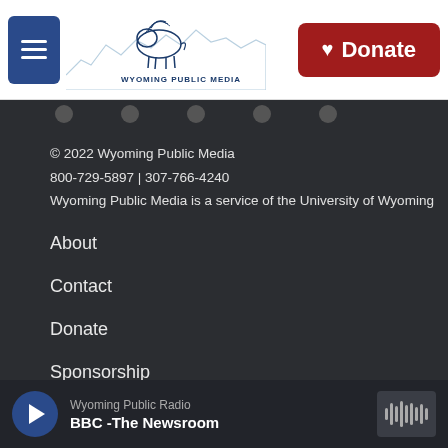[Figure (logo): Wyoming Public Media logo with bison and mountain skyline illustration]
© 2022 Wyoming Public Media
800-729-5897 | 307-766-4240
Wyoming Public Media is a service of the University of Wyoming
About
Contact
Donate
Sponsorship
Staff
Regulatory Information
Wyoming Public Radio
BBC -The Newsroom